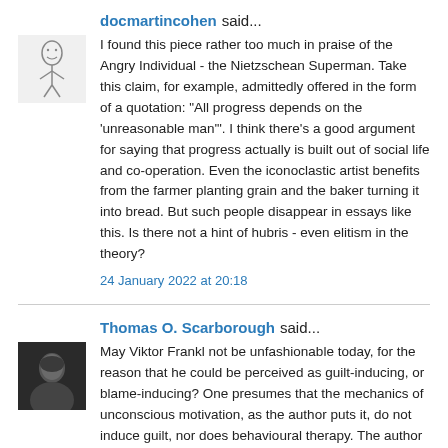docmartincohen said...
[Figure (illustration): Small avatar image of a sketched figure, person drawing in black and white]
I found this piece rather too much in praise of the Angry Individual - the Nietzschean Superman. Take this claim, for example, admittedly offered in the form of a quotation: "All progress depends on the ‘unreasonable man'". I think there's a good argument for saying that progress actually is built out of social life and co-operation. Even the iconoclastic artist benefits from the farmer planting grain and the baker turning it into bread. But such people disappear in essays like this. Is there not a hint of hubris - even elitism in the theory?
24 January 2022 at 20:18
Thomas O. Scarborough said...
[Figure (photo): Small avatar photo of a man, dark image, appears to be an older gentleman]
May Viktor Frankl not be unfashionable today, for the reason that he could be perceived as guilt-inducing, or blame-inducing? One presumes that the mechanics of unconscious motivation, as the author puts it, do not induce guilt, nor does behavioural therapy. The author